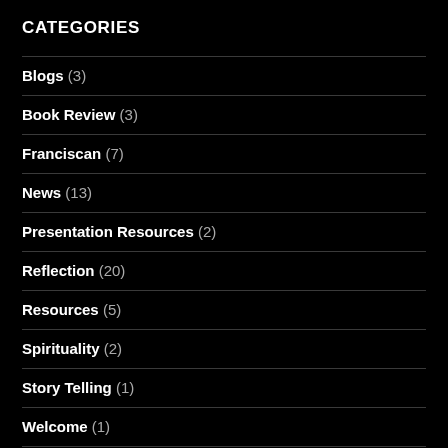CATEGORIES
Blogs (3)
Book Review (3)
Franciscan (7)
News (13)
Presentation Resources (2)
Reflection (20)
Resources (5)
Spirituality (2)
Story Telling (1)
Welcome (1)